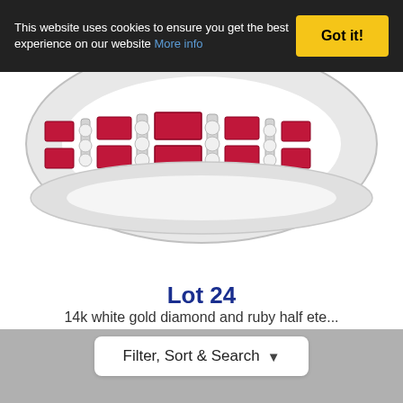This website uses cookies to ensure you get the best experience on our website More info
Got it!
[Figure (photo): Photo of a 14k white gold ring with ruby baguette stones and diamond accents arranged in a half eternity band pattern, shown from above on a white background.]
Lot 24
14k white gold diamond and ruby half ete...
Hammer £140
Fees
Filter, Sort & Search